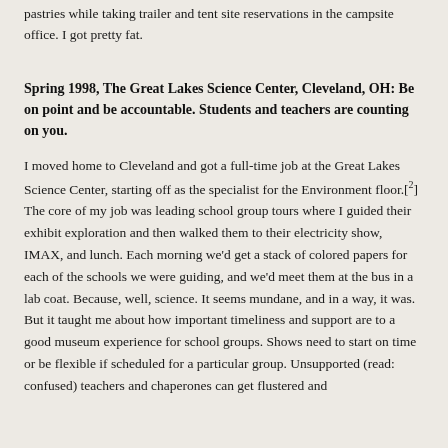pastries while taking trailer and tent site reservations in the campsite office. I got pretty fat.
Spring 1998, The Great Lakes Science Center, Cleveland, OH: Be on point and be accountable. Students and teachers are counting on you.
I moved home to Cleveland and got a full-time job at the Great Lakes Science Center, starting off as the specialist for the Environment floor.[2] The core of my job was leading school group tours where I guided their exhibit exploration and then walked them to their electricity show, IMAX, and lunch. Each morning we'd get a stack of colored papers for each of the schools we were guiding, and we'd meet them at the bus in a lab coat. Because, well, science. It seems mundane, and in a way, it was. But it taught me about how important timeliness and support are to a good museum experience for school groups. Shows need to start on time or be flexible if scheduled for a particular group. Unsupported (read: confused) teachers and chaperones can get flustered and